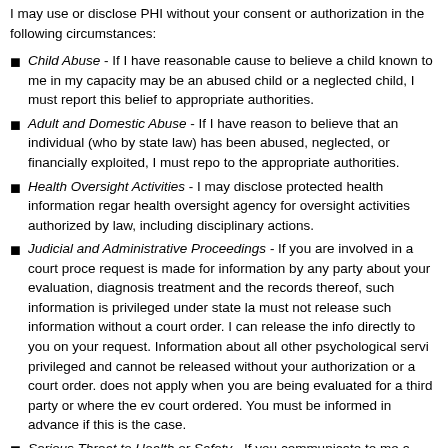I may use or disclose PHI without your consent or authorization in the following circumstances:
Child Abuse - If I have reasonable cause to believe a child known to me in my capacity may be an abused child or a neglected child, I must report this belief to appropriate authorities.
Adult and Domestic Abuse - If I have reason to believe that an individual (who by state law) has been abused, neglected, or financially exploited, I must report to the appropriate authorities.
Health Oversight Activities - I may disclose protected health information regarding health oversight agency for oversight activities authorized by law, including disciplinary actions.
Judicial and Administrative Proceedings - If you are involved in a court proceeding request is made for information by any party about your evaluation, diagnosis, treatment and the records thereof, such information is privileged under state law must not release such information without a court order. I can release the information directly to you on your request. Information about all other psychological services are privileged and cannot be released without your authorization or a court order. This does not apply when you are being evaluated for a third party or where the evaluation is court ordered. You must be informed in advance if this is the case.
Serious Threat to Health or Safety - If you communicate to me a specific threat of harm against another individual or if I believe that there is clear, imminent risk of mental injury being inflicted against another individual, I may make disclosures I believe are necessary to protect that individual from harm. If I believe that you...